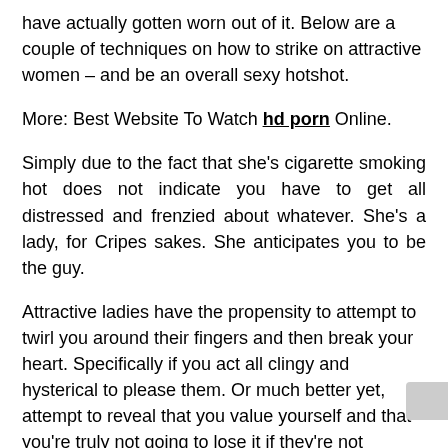have actually gotten worn out of it. Below are a couple of techniques on how to strike on attractive women – and be an overall sexy hotshot.
More: Best Website To Watch hd porn Online.
Simply due to the fact that she's cigarette smoking hot does not indicate you have to get all distressed and frenzied about whatever. She's a lady, for Cripes sakes. She anticipates you to be the guy.
Attractive ladies have the propensity to attempt to twirl you around their fingers and then break your heart. Specifically if you act all clingy and hysterical to please them. Or much better yet, attempt to reveal that you value yourself and that you're truly not going to lose it if they're not interested.
Many people tend to state yes to a woman's impulse if they're struck difficult – particularly when she's a hot lady. If you attempt to impress her with pricey presents, treating her out in costly